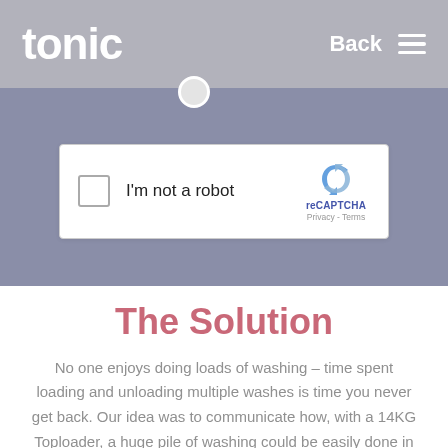tonic   Back ≡
[Figure (screenshot): reCAPTCHA widget showing a checkbox and 'I'm not a robot' text with reCAPTCHA branding, Privacy and Terms links, on a grey-purple background with a circle/bubble at top center]
The Solution
No one enjoys doing loads of washing – time spent loading and unloading multiple washes is time you never get back. Our idea was to communicate how, with a 14KG Toploader, a huge pile of washing could be easily done in 1. To give our idea